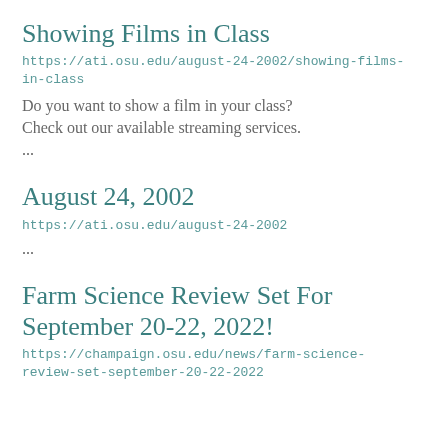Showing Films in Class
https://ati.osu.edu/august-24-2002/showing-films-in-class
Do you want to show a film in your class? Check out our available streaming services.
...
August 24, 2002
https://ati.osu.edu/august-24-2002
...
Farm Science Review Set For September 20-22, 2022!
https://champaign.osu.edu/news/farm-science-review-set-september-20-22-2022